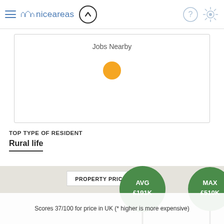niceareas
Jobs Nearby
TOP TYPE OF RESIDENT
Rural life
PROPERTY PRICE RANGE
[Figure (infographic): Property price range infographic showing four green circles connected by lines: MIN £52K (bottom left), MED £160K (bottom center), AVG £191K (top center), MAX £510K (top right)]
Scores 37/100 for price in UK (* higher is more expensive)